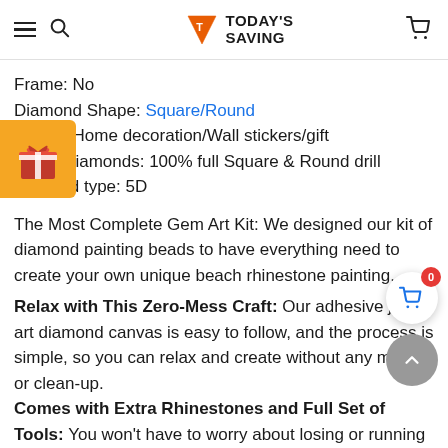TODAY'S SAVING
Frame: No
Diamond Shape: Square/Round
Usage: Home decoration/Wall stickers/gift
About Diamonds: 100% full Square & Round drill
diamond type: 5D
The Most Complete Gem Art Kit: We designed our kit of diamond painting beads to have everything need to create your own unique beach rhinestone painting.
Relax with This Zero-Mess Craft: Our adhesive jewel art diamond canvas is easy to follow, and the process is simple, so you can relax and create without any mess or clean-up.
Comes with Extra Rhinestones and Full Set of Tools: You won't have to worry about losing or running out of rhinestone beads, because our kit comes with extra